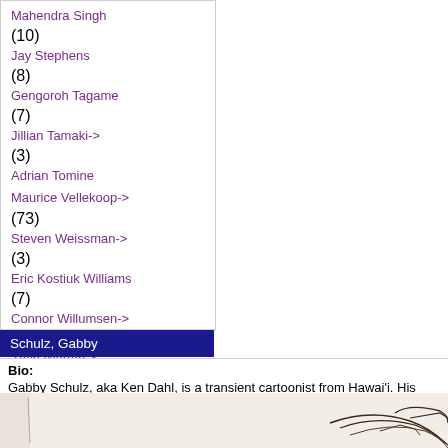Mahendra Singh (10)
Jay Stephens (8)
Gengoroh Tagame (7)
Jillian Tamaki-> (3)
Adrian Tomine
Maurice Vellekoop-> (73)
Steven Weissman-> (3)
Eric Kostiuk Williams (7)
Connor Willumsen-> (34)
Zach Worton-> (244)
Chip Zdarsky (5)
Information
Shipping Information
Policies
About Us
Contact Us
Schulz, Gabby
Bio:
Gabby Schulz, aka Ken Dahl, is a transient cartoonist from Hawai'i. His books include Mor
[Figure (illustration): Partial illustration of a figure, appears to be a comic book style drawing with ink lines on light background]